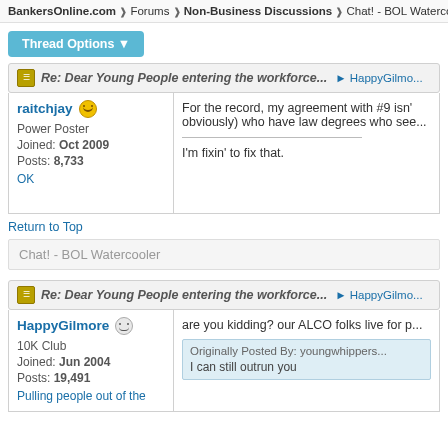BankersOnline.com > Forums > Non-Business Discussions > Chat! - BOL Waterco...
Thread Options ▼
Re: Dear Young People entering the workforce... HappyGilmo...
raitchjay
Power Poster
Joined: Oct 2009
Posts: 8,733
OK
For the record, my agreement with #9 isn't... (obviously) who have law degrees who see...
I'm fixin' to fix that.
Return to Top
Chat! - BOL Watercooler
Re: Dear Young People entering the workforce... HappyGilmo...
HappyGilmore
10K Club
Joined: Jun 2004
Posts: 19,491
Pulling people out of the
are you kidding? our ALCO folks live for p...
Originally Posted By: youngwhippers...
I can still outrun you